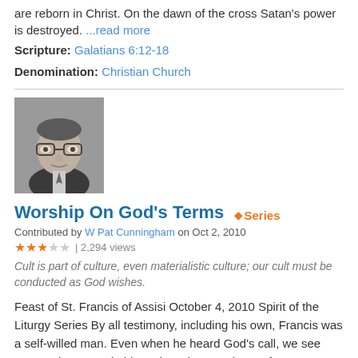are reborn in Christ. On the dawn of the cross Satan's power is destroyed. ...read more
Scripture: Galatians 6:12-18
Denomination: Christian Church
[Figure (photo): Black and white portrait photo of a middle-aged man with glasses]
Worship On God's Terms
Series
Contributed by W Pat Cunningham on Oct 2, 2010
★★★☆☆ | 2,294 views
Cult is part of culture, even materialistic culture; our cult must be conducted as God wishes.
Feast of St. Francis of Assisi October 4, 2010 Spirit of the Liturgy Series By all testimony, including his own, Francis was a self-willed man. Even when he heard God's call, we see over and over again his early actions as those of someone who is making his own way. The Francis of the ...read more